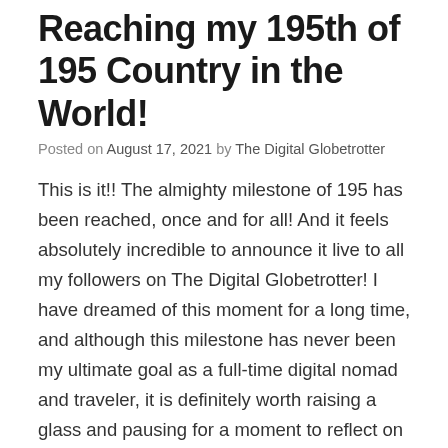Reaching my 195th of 195 Country in the World!
Posted on August 17, 2021 by The Digital Globetrotter
This is it!! The almighty milestone of 195 has been reached, once and for all! And it feels absolutely incredible to announce it live to all my followers on The Digital Globetrotter! I have dreamed of this moment for a long time, and although this milestone has never been my ultimate goal as a full-time digital nomad and traveler, it is definitely worth raising a glass and pausing for a moment to reflect on what it means for me and my future. The truth is, my life as a globetrotter will continue as usual, as I see no reason to stop doing what I love. I still